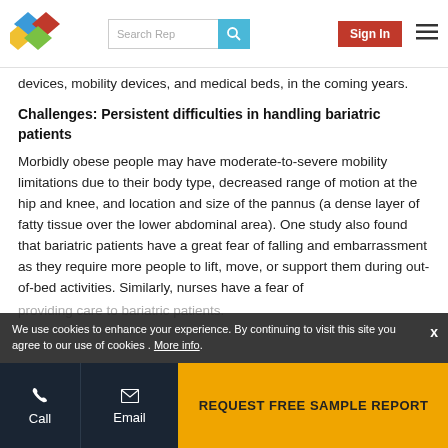Search Rep | Sign In
devices, mobility devices, and medical beds, in the coming years.
Challenges: Persistent difficulties in handling bariatric patients
Morbidly obese people may have moderate-to-severe mobility limitations due to their body type, decreased range of motion at the hip and knee, and location and size of the pannus (a dense layer of fatty tissue over the lower abdominal area). One study also found that bariatric patients have a great fear of falling and embarrassment as they require more people to lift, move, or support them during out-of-bed activities. Similarly, nurses have a fear of providing care to bariatric patients.
REQUEST FREE SAMPLE REPORT | Call | Email